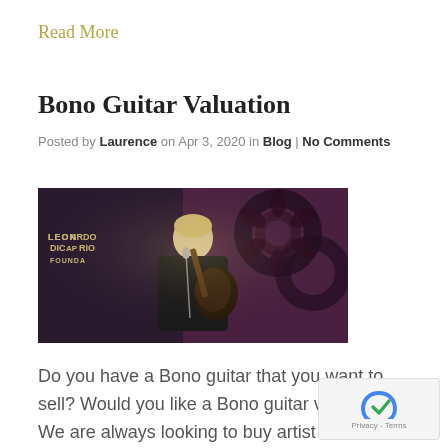Read More
Bono Guitar Valuation
Posted by Laurence on Apr 3, 2020 in Blog | No Comments
[Figure (photo): A musician (Bono) performing on stage with a guitar in front of a Leonardo DiCaprio Foundation backdrop with decorative floral/ornamental design]
Do you have a Bono guitar that you want to sell? Would you like a Bono guitar valuation?  We are always looking to buy artist owned and used guitars.  If you have one of Bono’s personally used guitars then get in touch with Pop Icons.  Send us some